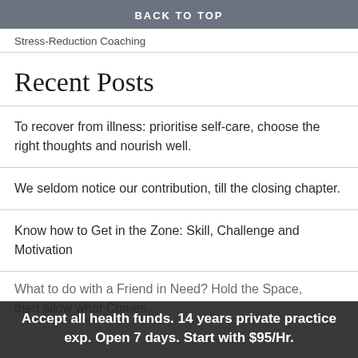BACK TO TOP
Stress-Reduction Coaching
Recent Posts
To recover from illness: prioritise self-care, choose the right thoughts and nourish well.
We seldom notice our contribution, till the closing chapter.
Know how to Get in the Zone: Skill, Challenge and Motivation
What to do with a Friend in Need? Hold the Space, then allow what Comes.
Accept all health funds. 14 years private practice exp. Open 7 days. Start with $95/Hr.